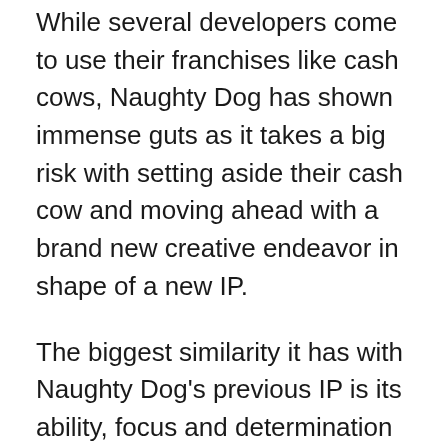While several developers come to use their franchises like cash cows, Naughty Dog has shown immense guts as it takes a big risk with setting aside their cash cow and moving ahead with a brand new creative endeavor in shape of a new IP.
The biggest similarity it has with Naughty Dog's previous IP is its ability, focus and determination in delivering a cinematic experience. The game puts as much emphasis on telling the story as it does for gameplay itself and in the end delivers on both fronts.
Since the story is of such an importance to the game experience, it is best not to dwell into its